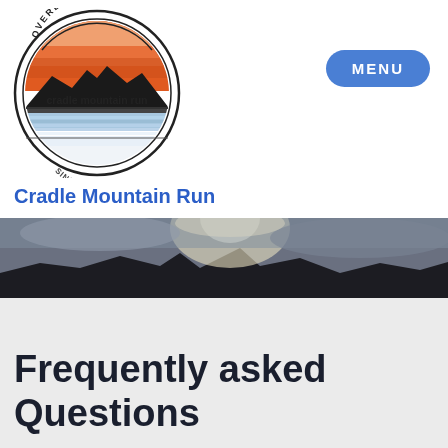[Figure (logo): Cradle Mountain Run circular logo with 'OVERLAND TRACK' text at top, mountain silhouette with orange/red sunset sky, lake reflection, and 'cradle mountain run' text in center, 'SINCE 1985' at bottom]
[Figure (other): MENU button - blue rounded rectangle button with white 'MENU' text]
Cradle Mountain Run
[Figure (photo): Panoramic landscape photo showing dramatic cloudy sky with sun rays breaking through clouds over dark mountain silhouettes]
Frequently asked Questions